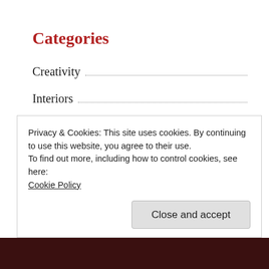Categories
Creativity
Interiors
Lifestyle
Search ...
Privacy & Cookies: This site uses cookies. By continuing to use this website, you agree to their use.
To find out more, including how to control cookies, see here: Cookie Policy
Close and accept